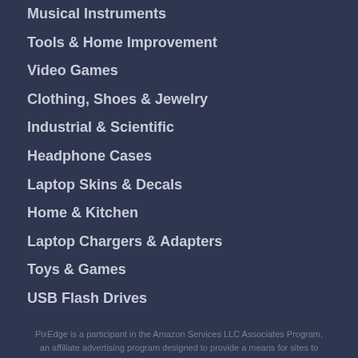Musical Instruments
Tools & Home Improvement
Video Games
Clothing, Shoes & Jewelry
Industrial & Scientific
Headphone Cases
Laptop Skins & Decals
Home & Kitchen
Laptop Chargers & Adapters
Toys & Games
USB Flash Drives
PixEdge is a participant in the Amazon Services LLC Associates Program, an affiliate advertising program designed to provide a means for sites to earn advertising fees by advertising and linking to www.amazon.com. Amazon, Amazon Prime, the Amazon logo and Amazon Prime logo are trademarks of Amazon.com, Inc. or its affiliates.